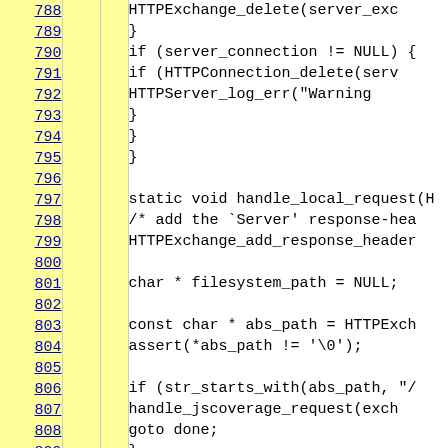[Figure (screenshot): Source code viewer showing C code lines 788-810 with line numbers in yellow sidebar and code content on white background. Lines show HTTPExchange_delete, server connection handling, static void handle_local_request function, HTTPExchange_add_response_header, filesystem_path, abs_path, str_starts_with, handle_jscoverage_request, goto done.]